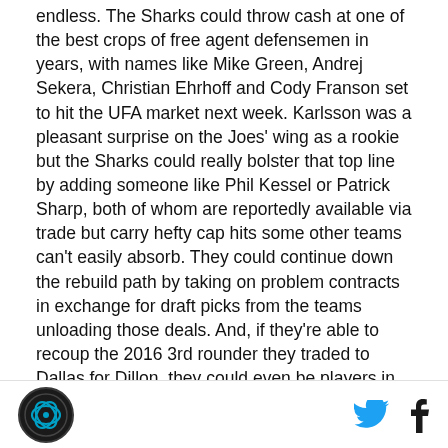endless. The Sharks could throw cash at one of the best crops of free agent defensemen in years, with names like Mike Green, Andrej Sekera, Christian Ehrhoff and Cody Franson set to hit the UFA market next week. Karlsson was a pleasant surprise on the Joes' wing as a rookie but the Sharks could really bolster that top line by adding someone like Phil Kessel or Patrick Sharp, both of whom are reportedly available via trade but carry hefty cap hits some other teams can't easily absorb. They could continue down the rebuild path by taking on problem contracts in exchange for draft picks from the teams unloading those deals. And, if they're able to recoup the 2016 3rd rounder they traded to Dallas for Dillon, they could even be players in the RFA offer sheet market.
[Figure (logo): San Jose area sports team logo — dark circular badge with stylized design]
[Figure (illustration): Twitter bird icon in blue]
[Figure (illustration): Facebook f icon in dark color]